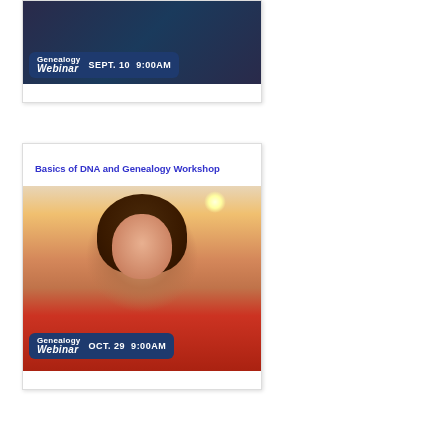[Figure (photo): Genealogy Webinar card showing SEPT. 10 9:00AM with dark background and partial person image]
Basics of DNA and Genealogy Workshop
[Figure (photo): Genealogy Webinar card showing woman with curly brown hair smiling, wearing red top. Badge reads OCT. 29 9:00AM]